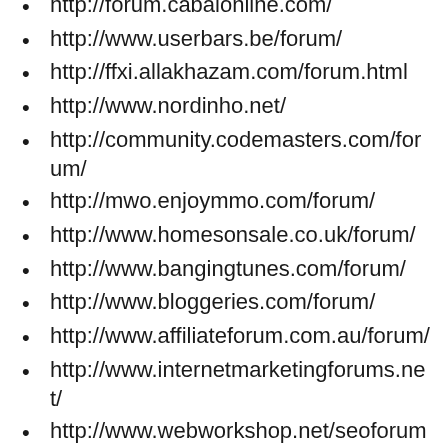http://forum.cabalonline.com/
http://www.userbars.be/forum/
http://ffxi.allakhazam.com/forum.html
http://www.nordinho.net/
http://community.codemasters.com/forum/
http://mwo.enjoymmo.com/forum/
http://www.homesonsale.co.uk/forum/
http://www.bangingtunes.com/forum/
http://www.bloggeries.com/forum/
http://www.affiliateforum.com.au/forum/
http://www.internetmarketingforums.net/
http://www.webworkshop.net/seoforum...